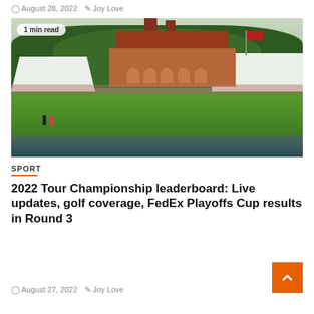August 28, 2022   Joy Love
[Figure (photo): Aerial view of a golf course green with sand bunkers, a large brick Tudor-style clubhouse in the background, white hospitality tents on both sides, US flag flying, spectators lining the fairway, and two golfers on the green. Badge overlay reads '1 min read'.]
SPORT
2022 Tour Championship leaderboard: Live updates, golf coverage, FedEx Playoffs Cup results in Round 3
August 27, 2022   Joy Love